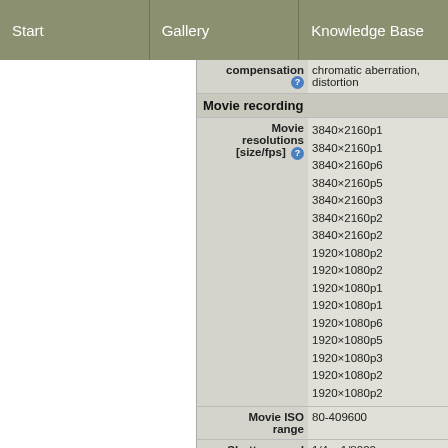Start | Gallery | Knowledge Base
| Label | Value |
| --- | --- |
| compensation | chromatic aberration, distortion |
| Movie recording |  |
| Movie resolutions [size/fps] | 3840×2160p1... 3840×2160p1... 3840×2160p6... 3840×2160p5... 3840×2160p3... 3840×2160p2... 3840×2160p2... 1920×1080p2... 1920×1080p2... 1920×1080p1... 1920×1080p1... 1920×1080p6... 1920×1080p5... 1920×1080p3... 1920×1080p2... 1920×1080p2... |
| Movie ISO range | 80-409600 |
| Shutter speed | 1/4 - 1/8000 |